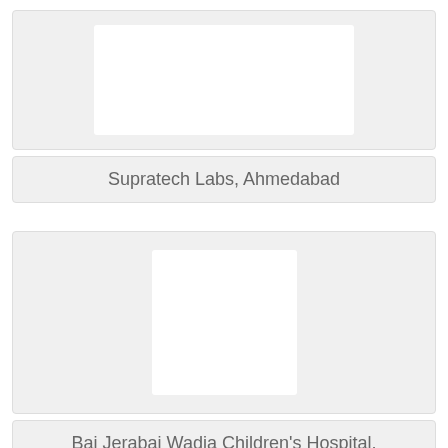[Figure (photo): Logo or image placeholder for Supratech Labs, Ahmedabad — wide rectangular white box on light grey background]
Supratech Labs, Ahmedabad
[Figure (photo): Logo or image placeholder for Bai Jerabai Wadia Children's Hospital, Mumbai — square white box on light grey background]
Bai Jerabai Wadia Children's Hospital, Mumbai